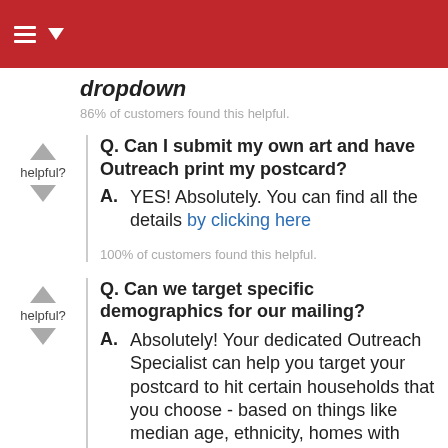dropdown
86% of customers found this helpful.
Q. Can I submit my own art and have Outreach print my postcard?
A. YES! Absolutely. You can find all the details by clicking here
100% of customers found this helpful.
Q. Can we target specific demographics for our mailing?
A. Absolutely! Your dedicated Outreach Specialist can help you target your postcard to hit certain households that you choose - based on things like median age, ethnicity, homes with children, marital status and many other demographics. There are lots of